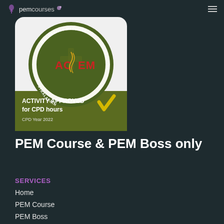pemcourses
[Figure (logo): ACEM Australasian College for Emergency Medicine circular logo badge with text 'ACTIVITY APPROVED for CPD hours CPD Year 2022' on an olive green background with a yellow checkmark]
PEM Course & PEM Boss only
SERVICES
Home
PEM Course
PEM Boss